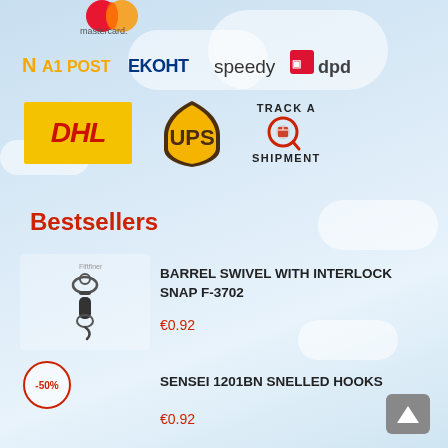[Figure (logo): Mastercard logo (partially visible at top)]
[Figure (logo): Shipping provider logos: A1 POST, EKOHT, speedy, DPD]
[Figure (logo): DHL logo (yellow background, red text)]
[Figure (logo): UPS logo (brown shield with gold lettering)]
[Figure (infographic): Track a Shipment icon with magnifying glass and package]
Bestsellers
[Figure (photo): Barrel swivel with interlock snap fishing tackle product image]
BARREL SWIVEL WITH INTERLOCK SNAP F-3702
€0.92
[Figure (infographic): -50% discount badge circle]
SENSEI 1201BN SNELLED HOOKS
€0.92